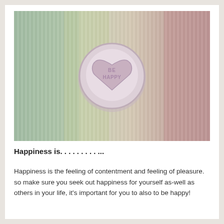[Figure (photo): A heart-shaped candy with 'BE HAPPY' embossed on it, resting on a colorful striped ribbed textile surface with green, pink, and neutral tones.]
Happiness is. . . . . . . . . ...
Happiness is the feeling of contentment and feeling of pleasure. so make sure you seek out happiness for yourself as-well as others in your life, it's important for you to also to be happy!